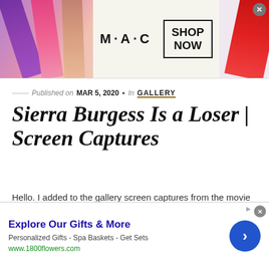[Figure (photo): MAC cosmetics advertisement banner with lipsticks and SHOP NOW box]
Published on MAR 5, 2020 • In GALLERY
Sierra Burgess Is a Loser | Screen Captures
Hello. I added to the gallery screen captures from the movie 'Sierra Burgess Is a Loser' (2018). Enjoy!
[Figure (screenshot): Movie screen captures from Sierra Burgess Is a Loser showing two characters]
[Figure (screenshot): Bottom advertisement: Explore Our Gifts & More - 1800flowers.com]